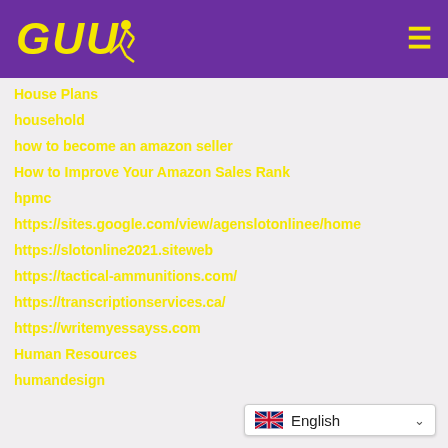[Figure (logo): GUDU logo with runner icon in yellow on purple background, hamburger menu icon on right]
House Plans
household
how to become an amazon seller
How to Improve Your Amazon Sales Rank
hpmc
https://sites.google.com/view/agenslotonlinee/home
https://slotonline2021.siteweb
https://tactical-ammunitions.com/
https://transcriptionservices.ca/
https://writemyessayss.com
Human Resources
humandesign
[Figure (infographic): Language selector widget showing UK flag and 'English' with dropdown arrow]